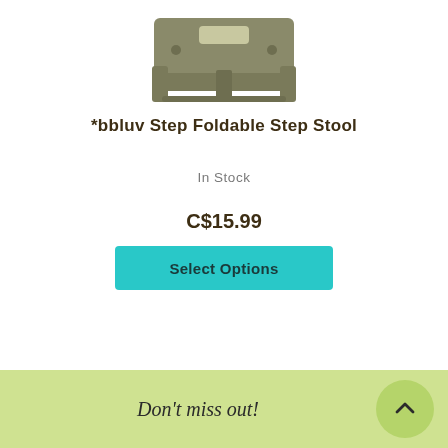[Figure (photo): A foldable step stool in olive/khaki color, viewed from a slight angle, showing its folded/compact form with a handle opening at the top.]
*bbluv Step Foldable Step Stool
In Stock
C$15.99
Select Options
Don't miss out!